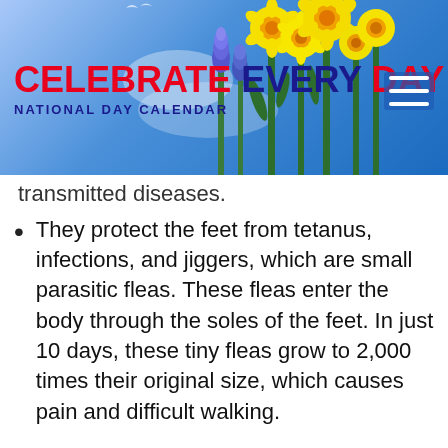[Figure (illustration): Celebrate Every Day National Day Calendar website header banner with blue sky background, flowers (yellow daffodils and blue grape hyacinths) on the right, site title text on the left, and hamburger menu icon on the far right.]
transmitted diseases.
They protect the feet from tetanus, infections, and jiggers, which are small parasitic fleas. These fleas enter the body through the soles of the feet. In just 10 days, these tiny fleas grow to 2,000 times their original size, which causes pain and difficult walking.
You might be surprised to know that shoes are one of the hardest things to get in poorer countries. People in these countries can make their own shoes. A local shoe is a false…